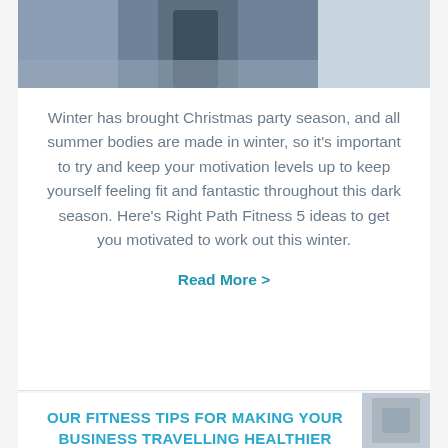[Figure (photo): Partial photo of a person in dark navy/blue athletic wear, cropped at the top of the page]
Winter has brought Christmas party season, and all summer bodies are made in winter, so it's important to try and keep your motivation levels up to keep yourself feeling fit and fantastic throughout this dark season. Here's Right Path Fitness 5 ideas to get you motivated to work out this winter.
Read More >
[Figure (photo): Partial thumbnail image visible in the bottom card]
OUR FITNESS TIPS FOR MAKING YOUR BUSINESS TRAVELLING HEALTHIER